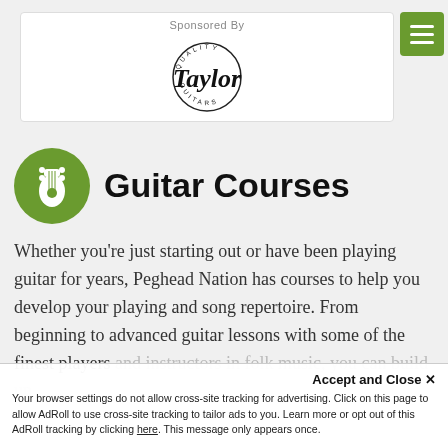[Figure (logo): Taylor Guitars quality logo with sponsor label]
Guitar Courses
Whether you're just starting out or have been playing guitar for years, Peghead Nation has courses to help you develop your playing and song repertoire. From beginning to advanced guitar lessons with some of the finest players and instructors in folk music, you can build up...
Accept and Close ×
Your browser settings do not allow cross-site tracking for advertising. Click on this page to allow AdRoll to use cross-site tracking to tailor ads to you. Learn more or opt out of this AdRoll tracking by clicking here. This message only appears once.